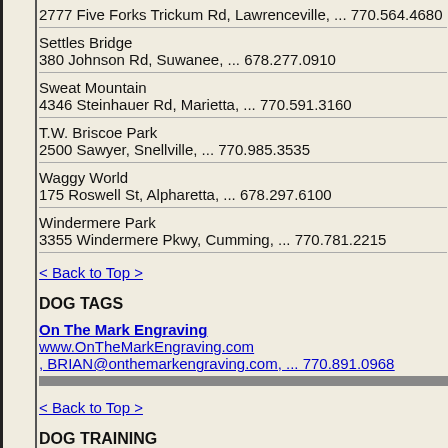2777 Five Forks Trickum Rd, Lawrenceville, ... 770.564.4680
Settles Bridge
380 Johnson Rd, Suwanee, ... 678.277.0910
Sweat Mountain
4346 Steinhauer Rd, Marietta, ... 770.591.3160
T.W. Briscoe Park
2500 Sawyer, Snellville, ... 770.985.3535
Waggy World
175 Roswell St, Alpharetta, ... 678.297.6100
Windermere Park
3355 Windermere Pkwy, Cumming, ... 770.781.2215
< Back to Top >
DOG TAGS
On The Mark Engraving
www.OnTheMarkEngraving.com
, BRIAN@onthemarkengraving.com, ... 770.891.0968
< Back to Top >
DOG TRAINING